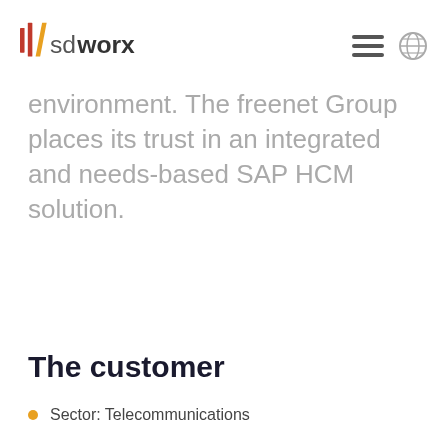SD Worx logo with hamburger menu and globe icon
environment. The freenet Group places its trust in an integrated and needs-based SAP HCM solution.
The customer
Sector: Telecommunications